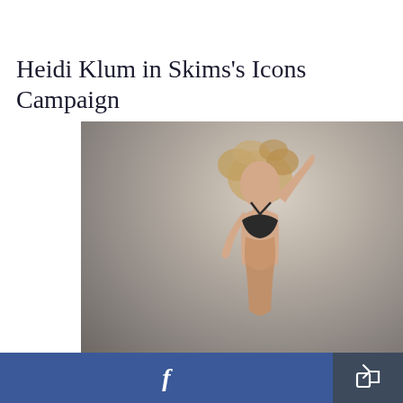Heidi Klum in Skims's Icons Campaign
[Figure (photo): Heidi Klum posing in a dark bralette/bikini top against a neutral grey-beige gradient background, with her arm raised and blonde hair tousled — campaign photo for Skims Icons Campaign]
Facebook share button and general share button